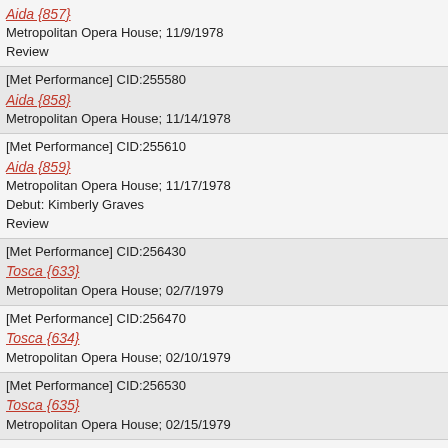Aida {857}
Metropolitan Opera House; 11/9/1978
Review
[Met Performance] CID:255580
Aida {858}
Metropolitan Opera House; 11/14/1978
[Met Performance] CID:255610
Aida {859}
Metropolitan Opera House; 11/17/1978
Debut: Kimberly Graves
Review
[Met Performance] CID:256430
Tosca {633}
Metropolitan Opera House; 02/7/1979
[Met Performance] CID:256470
Tosca {634}
Metropolitan Opera House; 02/10/1979
[Met Performance] CID:256530
Tosca {635}
Metropolitan Opera House; 02/15/1979
[Met Performance] CID:259020
Cavalleria Rusticana {531} Pagliacci {571}
Metropolitan Opera House; 09/26/1979
Debuts: Juan Lloveras, Philip Creech
[Met Performance] CID:259060
Cavalleria Rusticana {532} Pagliacci {572}
Metropolitan Opera House; 09/29/1979
[Met Performance] CID:259100